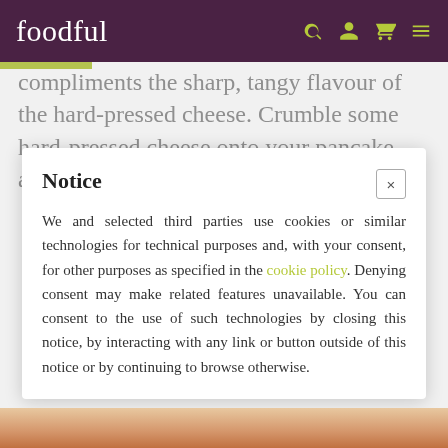foodful
compliments the sharp, tangy flavour of the hard-pressed cheese. Crumble some hard-pressed cheese onto your pancake and drizzle
Notice
We and selected third parties use cookies or similar technologies for technical purposes and, with your consent, for other purposes as specified in the cookie policy. Denying consent may make related features unavailable. You can consent to the use of such technologies by closing this notice, by interacting with any link or button outside of this notice or by continuing to browse otherwise.